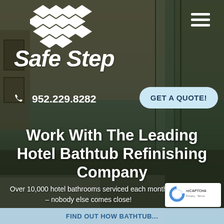[Figure (screenshot): Safe Step website screenshot showing hotel bathtub refinishing company homepage with navigation, logo, phone number, quote button, headline text, and subtext over a hotel room background image]
Safe Step
952.229.8282
GET A QUOTE!
Work With The Leading Hotel Bathtub Refinishing Company
Over 10,000 hotel bathrooms serviced each month – nobody else comes close!
Privacy · Terms